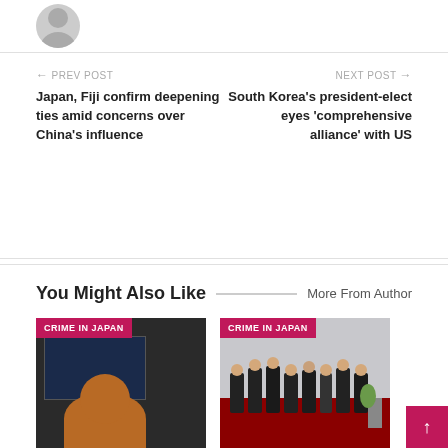[Figure (photo): Partial avatar/profile picture (silhouette) at top of page]
← PREV POST
Japan, Fiji confirm deepening ties amid concerns over China's influence
NEXT POST →
South Korea's president-elect eyes 'comprehensive alliance' with US
You Might Also Like
More From Author
[Figure (photo): Photo with CRIME IN JAPAN badge. Shows a person with orange hair in front of a dark screen.]
[Figure (photo): Photo with CRIME IN JAPAN badge. Shows a group of people in suits posing for a photo.]